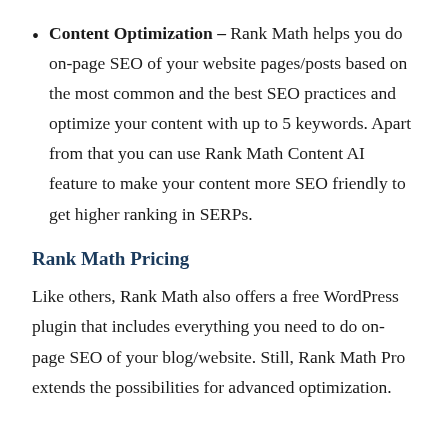Content Optimization – Rank Math helps you do on-page SEO of your website pages/posts based on the most common and the best SEO practices and optimize your content with up to 5 keywords. Apart from that you can use Rank Math Content AI feature to make your content more SEO friendly to get higher ranking in SERPs.
Rank Math Pricing
Like others, Rank Math also offers a free WordPress plugin that includes everything you need to do on-page SEO of your blog/website. Still, Rank Math Pro extends the possibilities for advanced optimization.